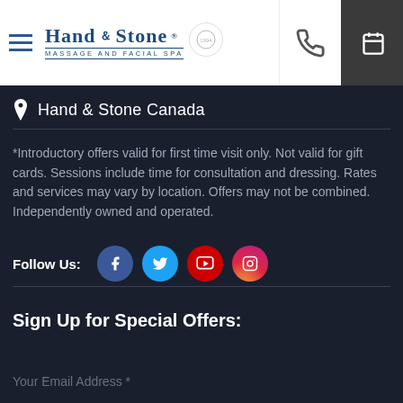Hand & Stone Massage and Facial Spa — header navigation
Hand & Stone Canada
*Introductory offers valid for first time visit only. Not valid for gift cards. Sessions include time for consultation and dressing. Rates and services may vary by location. Offers may not be combined. Independently owned and operated.
Follow Us:
[Figure (infographic): Social media icons: Facebook (blue circle), Twitter (light blue circle), YouTube (red circle), Instagram (gradient purple-pink circle)]
Sign Up for Special Offers:
Your Email Address *